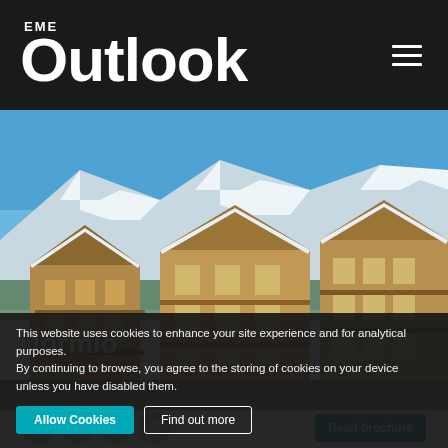EME Outlook
[Figure (photo): Aerial/ground-level photo of Dormio alpine hotel resort buildings with snow-covered mountain slopes in background, wooden chalet-style architecture, blue sky]
Dormio
[Figure (infographic): Social media icons (Facebook, Twitter, LinkedIn, Instagram) and a teal Read brochure button]
This website uses cookies to enhance your site experience and for analytical purposes.
By continuing to browse, you agree to the storing of cookies on your device unless you have disabled them.
The balance for the hotel industry
Allow Cookies
Find out more